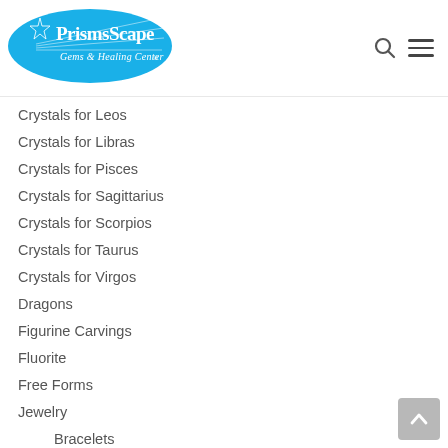[Figure (logo): PrismsScape Gems & Healing Center logo — white text on a blue oval with decorative lines and a star motif]
Crystals for Leos
Crystals for Libras
Crystals for Pisces
Crystals for Sagittarius
Crystals for Scorpios
Crystals for Taurus
Crystals for Virgos
Dragons
Figurine Carvings
Fluorite
Free Forms
Jewelry
Bracelets
Pendants
Kits – Sets – Bundles